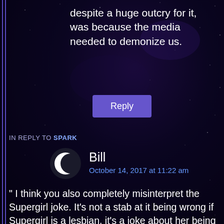despite a huge outcry for it, was because the media needed to demonize us.
Reply
IN REPLY TO SPARK
[Figure (illustration): Crescent moon / half-moon avatar icon, white on dark background]
Bill
October 14, 2017 at 11:22 am
“ I think you also completely misinterpret the Supergirl joke. It’s not a stab at it being wrong if Supergirl is a lesbian, it’s a joke about her being unavailable and Wynn’s infatuation. Compare it to the joke “Omg, you’re married aren’t you”.